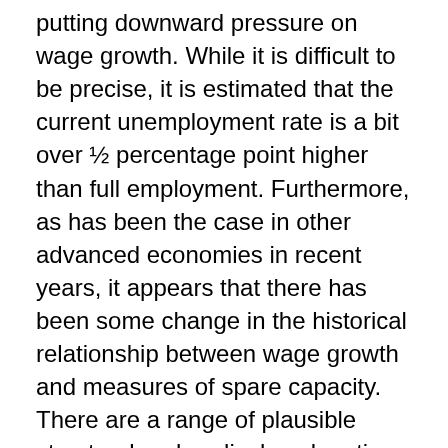putting downward pressure on wage growth. While it is difficult to be precise, it is estimated that the current unemployment rate is a bit over ½ percentage point higher than full employment. Furthermore, as has been the case in other advanced economies in recent years, it appears that there has been some change in the historical relationship between wage growth and measures of spare capacity. There are a range of plausible structural and cyclical explanations for this: increased labour market flexibility may have provided firms with greater scope to adjust wages in response to changes in nominal revenue growth; workers may be putting more emphasis on job security than higher wage claims as a result of the global financial crisis or structural change; and/ or reduced workers' pricing power as a result of increased competitive pressure from globalisation and technology. [3] The extent to which these factors persist will determine how quickly